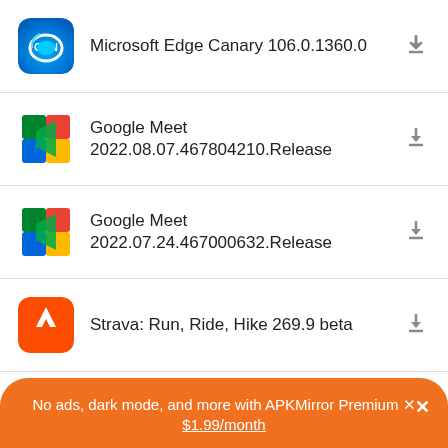Microsoft Edge Canary 106.0.1360.0
Google Meet 2022.08.07.467804210.Release
Google Meet 2022.07.24.467000632.Release
Strava: Run, Ride, Hike 269.9 beta
NordVPN – fast VPN for privacy 5.21.1 beta
See more uploads...
No ads, dark mode, and more with APKMirror Premium ✕
$1.99/month